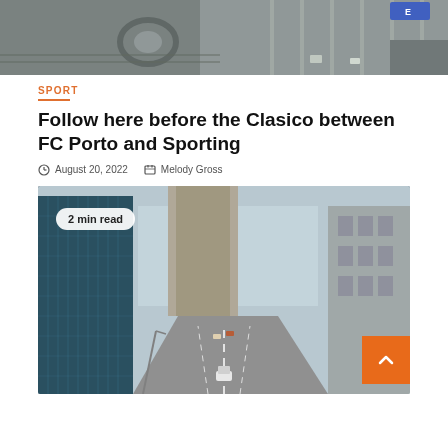[Figure (photo): Aerial view of a road intersection and parking area, highway visible on the right side]
SPORT
Follow here before the Clasico between FC Porto and Sporting
August 20, 2022   Melody Gross
[Figure (photo): City street view from above showing tall buildings on both sides and a road with cars, with a '2 min read' badge overlay]